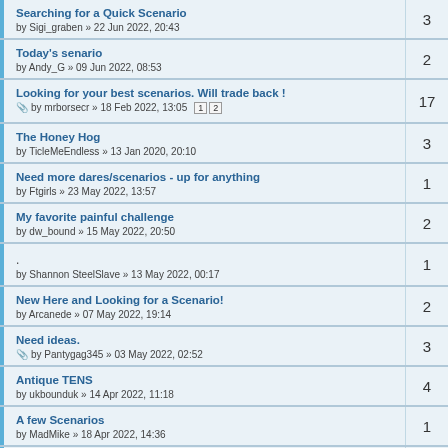Searching for a Quick Scenario by Sigi_graben » 22 Jun 2022, 20:43 | replies: 3
Today's senario by Andy_G » 09 Jun 2022, 08:53 | replies: 2
Looking for your best scenarios. Will trade back ! by mrborsecr » 18 Feb 2022, 13:05 | pages: 1 2 | replies: 17
The Honey Hog by TicleMeEndless » 13 Jan 2020, 20:10 | replies: 3
Need more dares/scenarios - up for anything by Ftgirls » 23 May 2022, 13:57 | replies: 1
My favorite painful challenge by dw_bound » 15 May 2022, 20:50 | replies: 2
. by Shannon SteelSlave » 13 May 2022, 00:17 | replies: 1
New Here and Looking for a Scenario! by Arcanede » 07 May 2022, 19:14 | replies: 2
Need ideas. by Pantygag345 » 03 May 2022, 02:52 | replies: 3
Antique TENS by ukbounduk » 14 Apr 2022, 11:18 | replies: 4
A few Scenarios by MadMike » 18 Apr 2022, 14:36 | replies: 1
Sissy Training week (partial text, cut off)